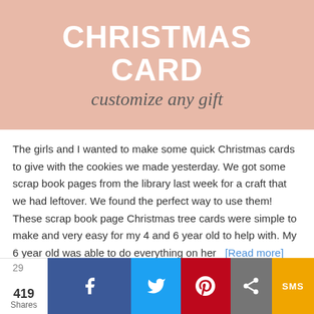[Figure (illustration): Pink/salmon background banner with bold white uppercase text 'CHRISTMAS CARD' and italic cursive subtitle 'customize any gift']
The girls and I wanted to make some quick Christmas cards to give with the cookies we made yesterday. We got some scrap book pages from the library last week for a craft that we had leftover. We found the perfect way to use them! These scrap book page Christmas tree cards were simple to make and very easy for my 4 and 6 year old to help with. My 6 year old was able to do everything on her  [Read more]
[Figure (screenshot): Social sharing bar with share count 419, Facebook, Twitter, Pinterest, Share, and SMS buttons]